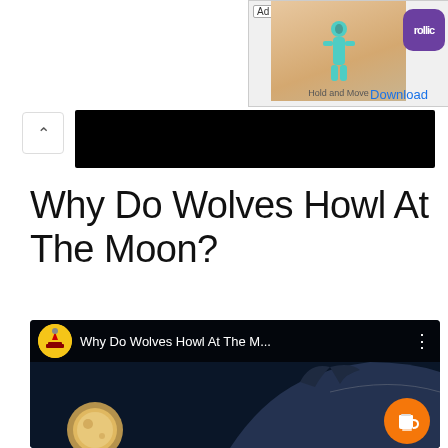[Figure (screenshot): Ad banner showing a mobile game (Hold and Move) with Rollic logo and Download button, partially visible at top right]
[Figure (screenshot): Collapse arrow button and black redacted bar below the ad area]
Why Do Wolves Howl At The Moon?
[Figure (screenshot): YouTube video thumbnail showing 'Why Do Wolves Howl At The M...' with a wolf and moon image, channel icon, and orange coffee button overlay]